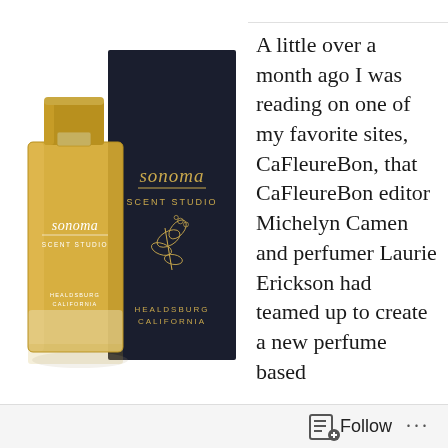[Figure (photo): A yellow-gold rectangular perfume bottle labeled 'sonoma SCENT STUDIO HEALDSBURG CALIFORNIA' in white text, with gold cap, placed in front of a dark navy/black rectangular box also branded 'sonoma SCENT STUDIO HEALDSBURG CALIFORNIA' with a gold botanical leaf illustration. The bottle and box are from Sonoma Scent Studio.]
A little over a month ago I was reading on one of my favorite sites, CaFleureBon, that CaFleureBon editor Michelyn Camen and perfumer Laurie Erickson had teamed up to create a new perfume based